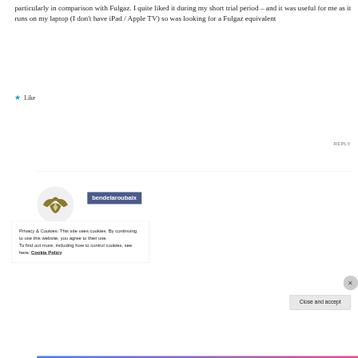particularly in comparison with Fulgaz. I quite liked it during my short trial period – and it was useful for me as it runs on my laptop (I don't have iPad / Apple TV) so was looking for a Fulgaz equivalent
★ Like
REPLY
bendelaroubaix
Privacy & Cookies: This site uses cookies. By continuing to use this website, you agree to their use.
To find out more, including how to control cookies, see here: Cookie Policy
Close and accept